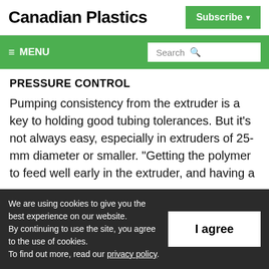Canadian Plastics
Subscribe
≡ MENU | Search
PRESSURE CONTROL
Pumping consistency from the extruder is a key to holding good tubing tolerances. But it's not always easy, especially in extruders of 25-mm diameter or smaller. “Getting the polymer to feed well early in the extruder, and having a
We are using cookies to give you the best experience on our website.
By continuing to use the site, you agree to the use of cookies.
To find out more, read our privacy policy.